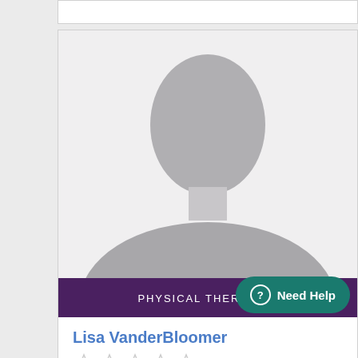[Figure (photo): Default placeholder silhouette photo of a person (no photo available), gray background with gray head and shoulders silhouette]
PHYSICAL THERAPIST
Lisa VanderBloomer
[Figure (other): Five star rating icons (empty/outline stars)]
Need Help